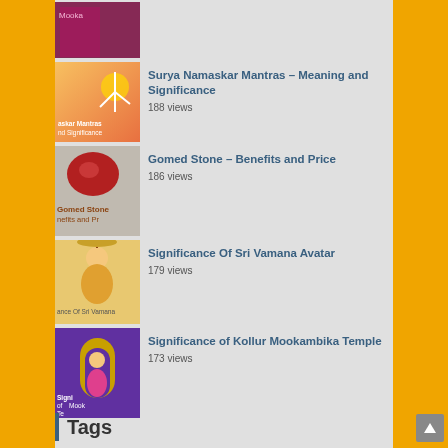[Figure (photo): Partial thumbnail of Kollur Mookambika related article at top]
Surya Namaskar Mantras – Meaning and Significance
188 views
Gomed Stone – Benefits and Price
186 views
Significance Of Sri Vamana Avatar
179 views
Significance of Kollur Mookambika Temple
173 views
Tags